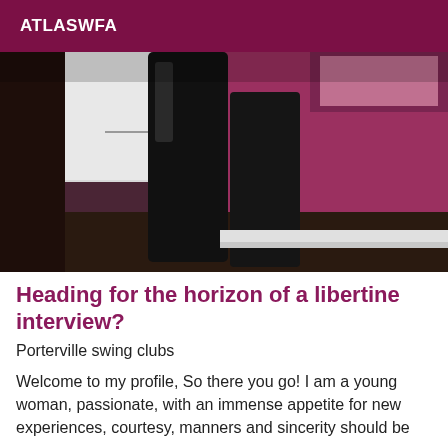ATLASWFA
[Figure (photo): A person wearing tall black leather boots standing in a room with pink/magenta walls and white cabinetry, photo cropped to show mainly the boots and lower body.]
Heading for the horizon of a libertine interview?
Porterville swing clubs
Welcome to my profile, So there you go! I am a young woman, passionate, with an immense appetite for new experiences, courtesy, manners and sincerity should be